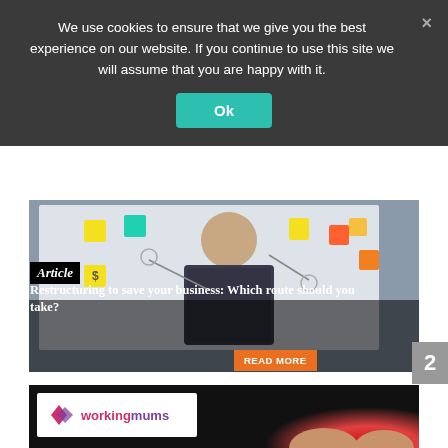We use cookies to ensure that we give you the best experience on our website. If you continue to use this site we will assume that you are happy with it.
Ok
[Figure (photo): Person standing in front of a whiteboard covered with sticky notes and diagrams, viewed from behind, wearing a checkered shirt]
Article
Restructuring to save your business: Which route should you take?
READ MORE
[Figure (photo): Working mums website thumbnail showing a person with head in hands, partially visible with red/warm tones]